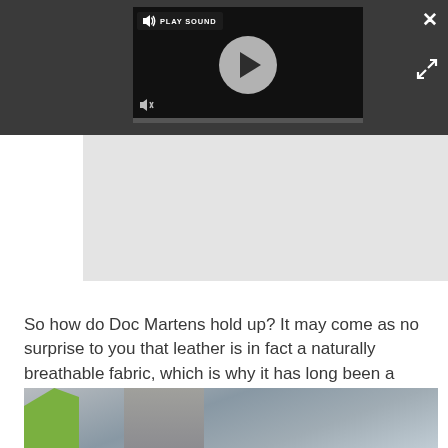[Figure (screenshot): Video player UI on dark overlay bar showing 'PLAY SOUND' label with speaker icon, a large circular play button, mute icon, and progress bar. Close (X) and expand arrows icons on the right side.]
[Figure (other): Gray advertisement placeholder block]
So how do Doc Martens hold up? It may come as no surprise to you that leather is in fact a naturally breathable fabric, which is why it has long been a popular choice for boots and shoes.
[Figure (photo): Partial photo of person's legs/boots from below, with green grass on the left and cloudy sky background]